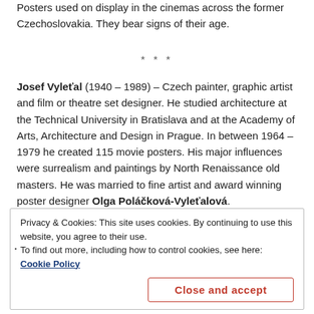Posters used on display in the cinemas across the former Czechoslovakia. They bear signs of their age.
* * *
Josef Vyleťal (1940 – 1989) – Czech painter, graphic artist and film or theatre set designer. He studied architecture at the Technical University in Bratislava and at the Academy of Arts, Architecture and Design in Prague. In between 1964 – 1979 he created 115 movie posters. His major influences were surrealism and paintings by North Renaissance old masters. He was married to fine artist and award winning poster designer Olga Poláčková-Vyleťalová.
Privacy & Cookies: This site uses cookies. By continuing to use this website, you agree to their use.
To find out more, including how to control cookies, see here: Cookie Policy
Close and accept